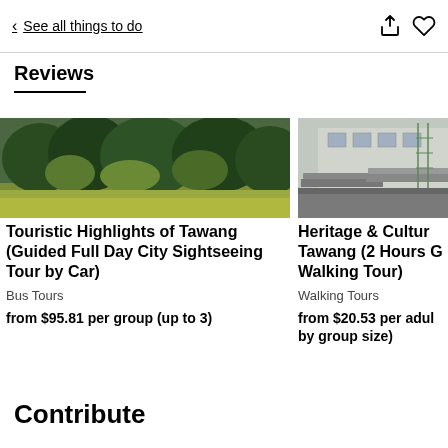< See all things to do
Reviews
[Figure (photo): Landscape photo showing dense green trees and shrubs with yellow-green grassy foreground]
Touristic Highlights of Tawang (Guided Full Day City Sightseeing Tour by Car)
Bus Tours
from $95.81 per group (up to 3)
[Figure (photo): Photo of traditional Asian rooftops with grey tiles and a building with windows in background]
Heritage & Cultural Tawang (2 Hours G Walking Tour)
Walking Tours
from $20.53 per adult by group size)
Contribute